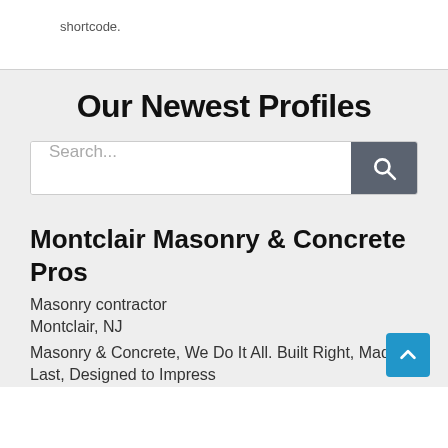shortcode.
Our Newest Profiles
Search...
Montclair Masonry & Concrete Pros
Masonry contractor
Montclair, NJ
Masonry & Concrete, We Do It All. Built Right, Made to Last, Designed to Impress